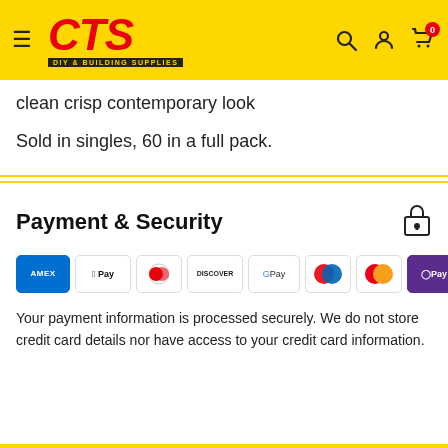[Figure (logo): CTS DIY & Building Supplies logo on yellow header with hamburger menu, search, user and cart icons]
clean crisp contemporary look
Sold in singles, 60 in a full pack.
Payment & Security
[Figure (infographic): Payment method icons: Amex, Apple Pay, Diners Club, Discover, Google Pay, Maestro, Mastercard, O Pay, Visa]
Your payment information is processed securely. We do not store credit card details nor have access to your credit card information.